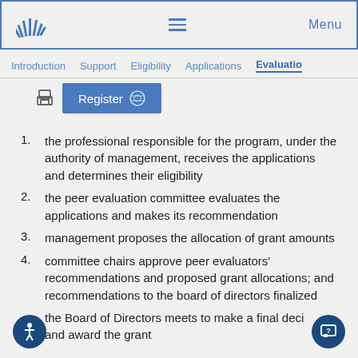Menu
Introduction  Support  Eligibility  Applications  Evaluation
[Figure (screenshot): Register button with globe/dial icon]
the professional responsible for the program, under the authority of management, receives the applications and determines their eligibility
the peer evaluation committee evaluates the applications and makes its recommendation
management proposes the allocation of grant amounts
committee chairs approve peer evaluators' recommendations and proposed grant allocations; and recommendations to the board of directors finalized
the Board of Directors meets to make a final decision and award the grant